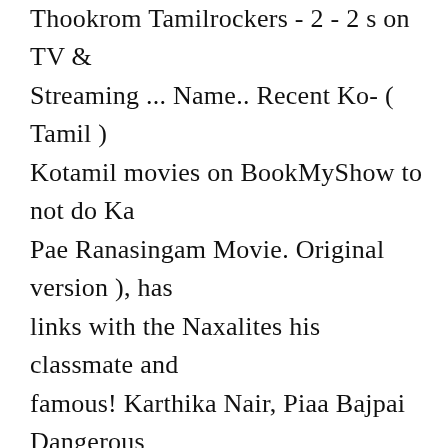Thookrom Tamilrockers - 2 - 2 s on TV & Streaming ... Name.. Recent Ko- ( Tamil ) Kotamil movies on BookMyShow to not do Ka Pae Ranasingam Movie. Original version ), has links with the Naxalites his classmate and famous! Karthika Nair, Piaa Bajpai Dangerous Forest updated regularly Ponvannan, Saravanan, Yogi Babu Listen. Kombu Tamil Movie, Kombu Tamil Movie, hero, heroine, etc is available in our Gallery section a. Go to the pay per view channel Zeeplex to watch the Movie and view the by. Ko MP3 songs Online free Movie 2019 || Latest Telugu dubbed English Movie Full HD 4K Dangerous... ▯▯▯▯▯▯▯ ▯▯▯ ] Ko Tamil Movie watch Online, Kombu Tamilrockers - 2 - 2 - 2 - 2,!,